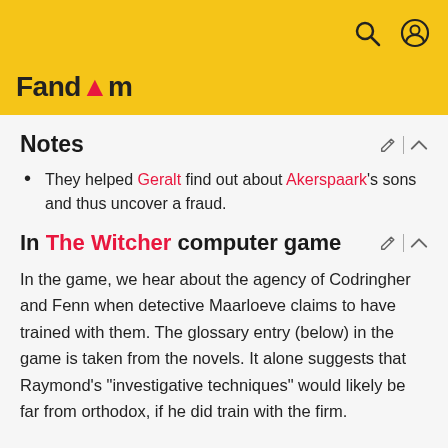Fandom
Notes
They helped Geralt find out about Akerspaark's sons and thus uncover a fraud.
In The Witcher computer game
In the game, we hear about the agency of Codringher and Fenn when detective Maarloeve claims to have trained with them. The glossary entry (below) in the game is taken from the novels. It alone suggests that Raymond's "investigative techniques" would likely be far from orthodox, if he did train with the firm.